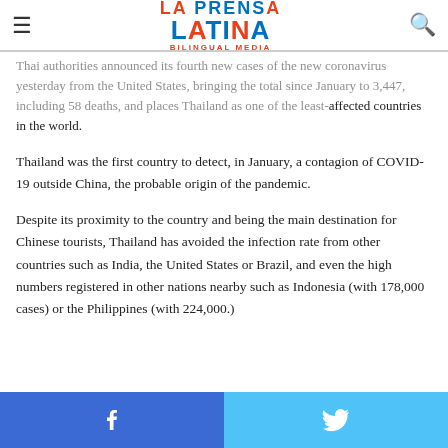La Prensa Latina Bilingual Media — navigation header with logo, hamburger menu, and search icon
Thai authorities announced its fourth new cases of the new coronavirus yesterday from the United States, bringing the total since January to 3,447, including 58 deaths, and places Thailand as one of the least-affected countries in the world.
Thailand was the first country to detect, in January, a contagion of COVID-19 outside China, the probable origin of the pandemic.
Despite its proximity to the country and being the main destination for Chinese tourists, Thailand has avoided the infection rate from other countries such as India, the United States or Brazil, and even the high numbers registered in other nations nearby such as Indonesia (with 178,000 cases) or the Philippines (with 224,000.)
Facebook share button | Twitter share button